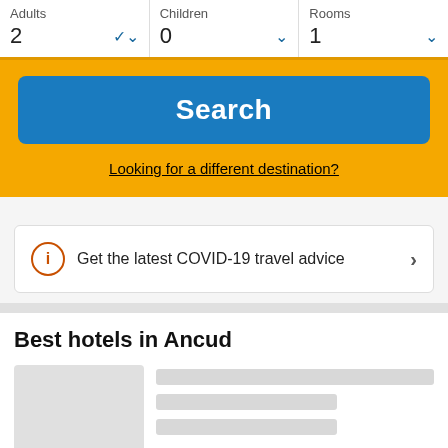Adults 2
Children 0
Rooms 1
Search
Looking for a different destination?
Get the latest COVID-19 travel advice
Best hotels in Ancud
[Figure (screenshot): Hotel listing placeholder with gray image and loading skeleton bars]